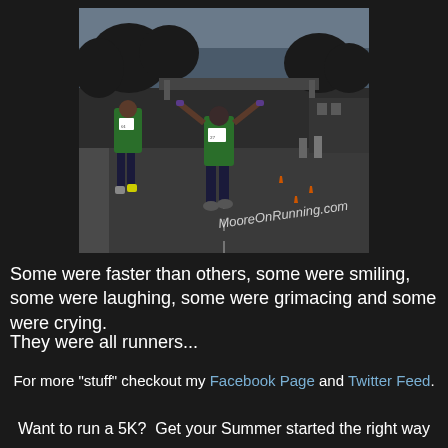[Figure (photo): Outdoor photo of runners on a road during a race. Two runners in green shirts visible, one with arms raised in celebration. Trees and a bridge in background. Watermark reads 'MooreOnRunning.com' in white italic text.]
Some were faster than others, some were smiling, some were laughing, some were grimacing and some were crying.
They were all runners...
For more "stuff" checkout my Facebook Page and Twitter Feed.
Want to run a 5K?  Get your Summer started the right way